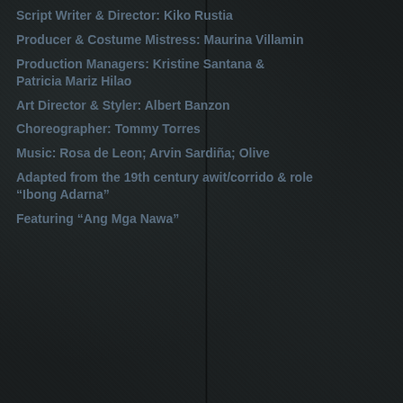Script Writer & Director: Kiko Rustia
Producer & Costume Mistress: Maurina Villamin
Production Managers: Kristine Santana & Patricia Mariz Hilao
Art Director & Styler: Albert Banzon
Choreographer: Tommy Torres
Music: Rosa de Leon; Arvin Sardiña; Olive
Adapted from the 19th century awit/corrido "Ibong Adarna"
Featuring "Ang Mga Nawa"